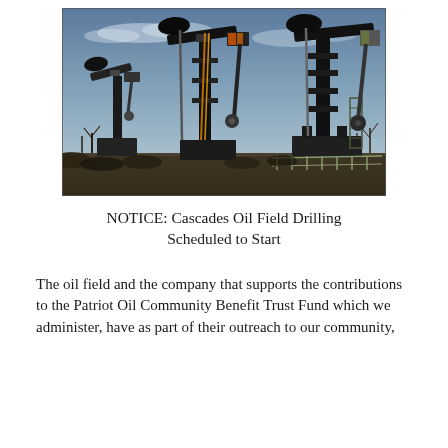[Figure (photo): Photograph of multiple oil pump jacks (pumpjacks) in an oil field against a partly cloudy sky with bare trees visible in the background. The pumps are dark silhouettes with one having an orange/red accent.]
NOTICE: Cascades Oil Field Drilling Scheduled to Start
The oil field and the company that supports the contributions to the Patriot Oil Community Benefit Trust Fund which we administer, have as part of their outreach to our community,